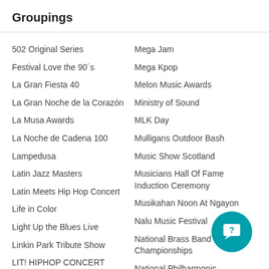Groupings
502 Original Series
Festival Love the 90´s
La Gran Fiesta 40
La Gran Noche de la Corazón
La Musa Awards
La Noche de Cadena 100
Lampedusa
Latin Jazz Masters
Latin Meets Hip Hop Concert
Life in Color
Light Up the Blues Live
Linkin Park Tribute Show
LIT! HIPHOP CONCERT
Live 105s BFD
Mega Jam
Mega Kpop
Melon Music Awards
Ministry of Sound
MLK Day
Mulligans Outdoor Bash
Music Show Scotland
Musicians Hall Of Fame Induction Ceremony
Musikahan Noon At Ngayon
Nalu Music Festival
National Brass Band Championships
National Philharmonic